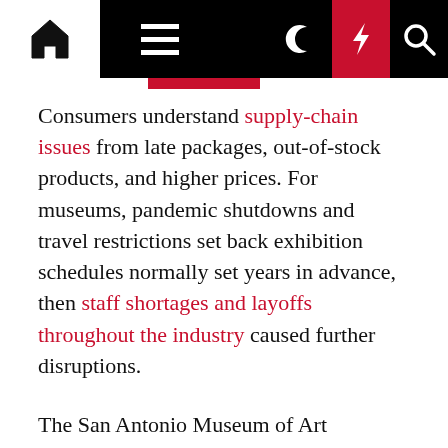Navigation bar with home, menu, moon, bolt, and search icons
Consumers understand supply-chain issues from late packages, out-of-stock products, and higher prices. For museums, pandemic shutdowns and travel restrictions set back exhibition schedules normally set years in advance, then staff shortages and layoffs throughout the industry caused further disruptions.
The San Antonio Museum of Art (SAMA), the Witte Museum, the McNay Art Museum, and the DoSeum responded by turning to their own collections, focusing on local collectors, and by highlighting local artists, artisans, and makers, thereby avoiding snags with travel and shipping in the process. SAMA has also touted new acquisitions by local artists — bolstering its own collection and the pocketbooks of San Antonio artists in one turn. The McNay also